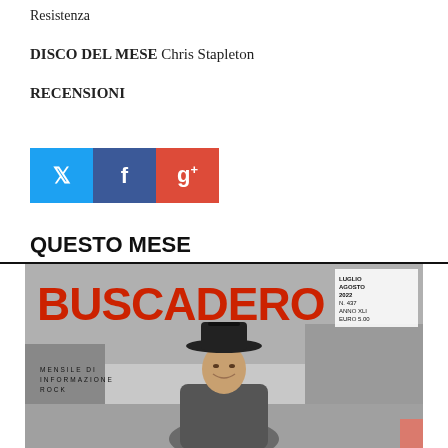Resistenza
DISCO DEL MESE Chris Stapleton
RECENSIONI
[Figure (infographic): Social media share buttons: Twitter (blue), Facebook (dark blue), Google+ (red)]
QUESTO MESE
[Figure (photo): Cover of Buscadero magazine, Luglio Agosto 2022 N.437 Anno XLI Euro 5.00. Large red BUSCADERO logo on black and white photo of Willie Nelson wearing a cowboy hat. Text reads MENSILE DI INFORMAZIONE ROCK.]